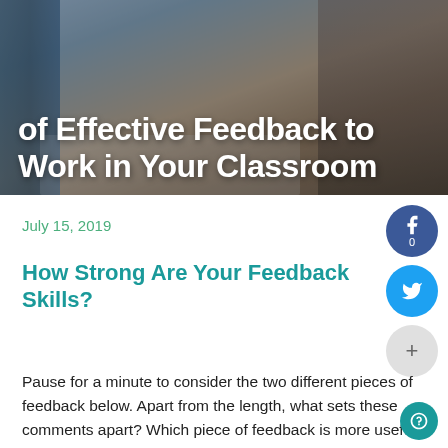[Figure (photo): Hero image showing a student writing at a desk with books, overlaid with white bold text title. Background shows hands writing with notebooks and stationery visible.]
of Effective Feedback to Work in Your Classroom
July 15, 2019
How Strong Are Your Feedback Skills?
Pause for a minute to consider the two different pieces of feedback below. Apart from the length, what sets these comments apart? Which piece of feedback is more useful for a budding student writer? Why?
Example No. 1: “You didn’t fully address the prompt